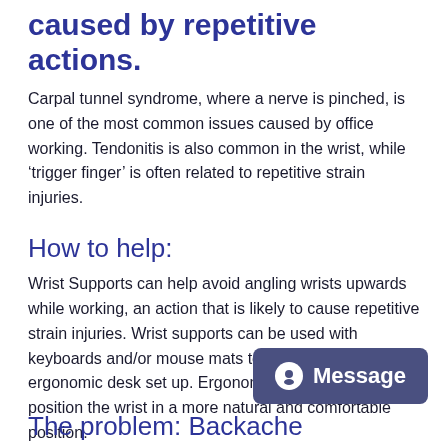caused by repetitive actions.
Carpal tunnel syndrome, where a nerve is pinched, is one of the most common issues caused by office working. Tendonitis is also common in the wrist, while ‘trigger finger’ is often related to repetitive strain injuries.
How to help:
Wrist Supports can help avoid angling wrists upwards while working, an action that is likely to cause repetitive strain injuries. Wrist supports can be used with keyboards and/or mouse mats to offer a complete ergonomic desk set up. Ergonomic mice can help position the wrist in a more natural and comfortable position.
[Figure (other): Chat/message button widget with alien/chat icon and text 'Message' on dark navy-blue rounded rectangle background]
The problem: Backache